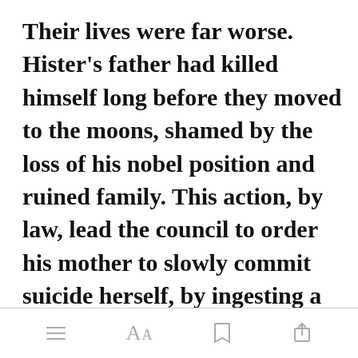Their lives were far worse. Hister's father had killed himself long before they moved to the moons, shamed by the loss of his nobel position and ruined family. This action, by law, lead the council to order his mother to slowly commit suicide herself, by ingesting a plant laced with a poison for many years until her body slowly deteriorated and withered. Before she fina[Open in app]thed her last
[menu] [font size] [bookmark] [share]